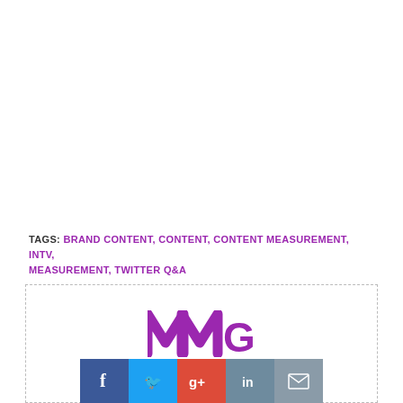TAGS: BRAND CONTENT, CONTENT, CONTENT MEASUREMENT, INTV, MEASUREMENT, TWITTER Q&A
[Figure (logo): MMG logo in purple with social sharing buttons (Facebook, Twitter, Google+, LinkedIn, Email) below it, inside a dashed border box]